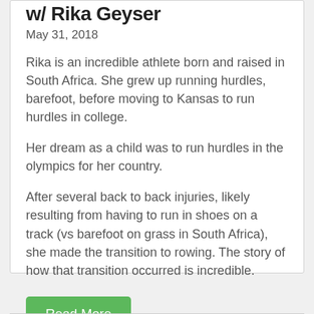w/ Rika Geyser
May 31, 2018
Rika is an incredible athlete born and raised in South Africa. She grew up running hurdles, barefoot, before moving to Kansas to run hurdles in college.
Her dream as a child was to run hurdles in the olympics for her country.
After several back to back injuries, likely resulting from having to run in shoes on a track (vs barefoot on grass in South Africa), she made the transition to rowing. The story of how that transition occurred is incredible.
Read More